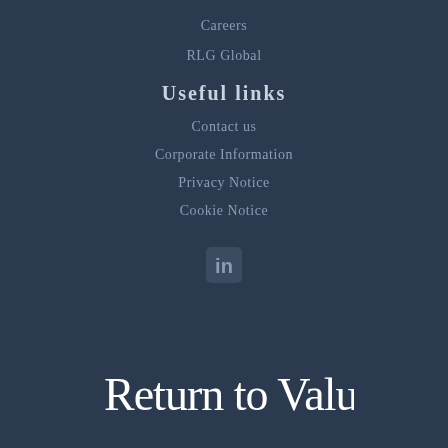Careers
RLG Global
Useful links
Contact us
Corporate Information
Privacy Notice
Cookie Notice
[Figure (logo): LinkedIn icon - 'in' text logo in light blue-grey]
[Figure (illustration): Handwritten cursive script reading 'Return to Value' in white on dark navy background]